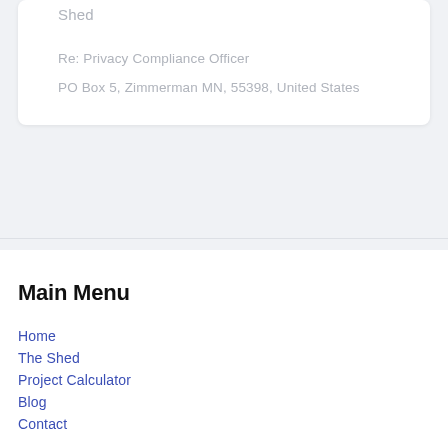Shed
Re: Privacy Compliance Officer
PO Box 5, Zimmerman MN, 55398, United States
Main Menu
Home
The Shed
Project Calculator
Blog
Contact